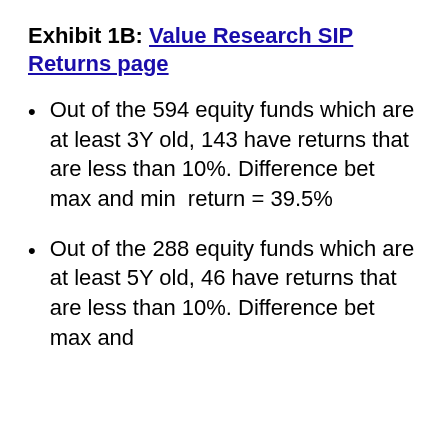Exhibit 1B: Value Research SIP Returns page
Out of the 594 equity funds which are at least 3Y old, 143 have returns that are less than 10%. Difference bet max and min return = 39.5%
Out of the 288 equity funds which are at least 5Y old, 46 have returns that are less than 10%. Difference bet max and